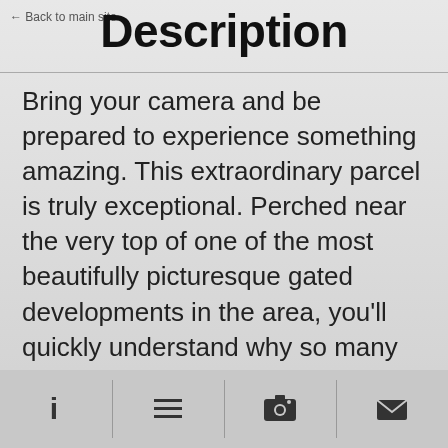← Back to main site
Description
Bring your camera and be prepared to experience something amazing. This extraordinary parcel is truly exceptional. Perched near the very top of one of the most beautifully picturesque gated developments in the area, you'll quickly understand why so many folks have built their dream homes within this divine valley. The Navajo River greets you just within the gate and you'll pass through many variations of terrain, lush meadows and beautifully forested hillsides as you climb ever toward the